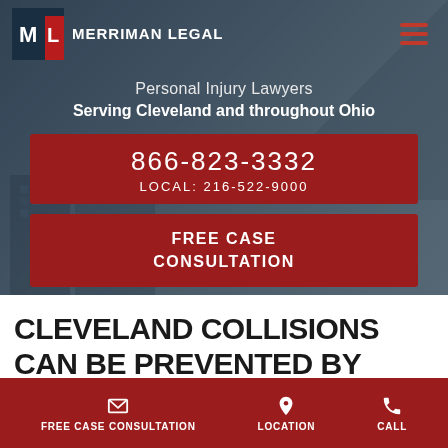[Figure (screenshot): Merriman Legal law firm website screenshot with hero image of Cleveland buildings, logo, navigation, phone numbers, and call-to-action buttons]
CLEVELAND COLLISIONS CAN BE PREVENTED BY FOLLOWING MOVE-OVER
FREE CASE CONSULTATION    LOCATION    CALL